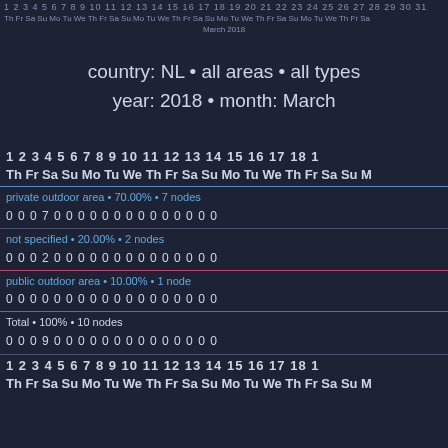1 2 3 4 5 6 7 8 9 10 11 12 13 14 15 16 17 18 1
Th Fr Sa Su Mo Tu We Th Fr Sa Su Mo Tu We Th Fr Sa Su Mo Tu We Th Fr Sa Su Mo Tu We Th Fr Sa
March 2018
country: NL • all areas • all types
year: 2018 • month: March
1 2 3 4 5 6 7 8 9 10 11 12 13 14 15 16 17 18 1
Th Fr Sa Su Mo Tu We Th Fr Sa Su Mo Tu We Th Fr Sa Su M
private outdoor area • 70.00% • 7 nodes
0 0 0 7 0 0 0 0 0 0 0 0 0 0 0 0 0 0
not specified • 20.00% • 2 nodes
0 0 0 2 0 0 0 0 0 0 0 0 0 0 0 0 0 0
public outdoor area • 10.00% • 1 node
0 0 0 0 0 0 0 0 0 0 0 0 0 0 0 0 0 0
Total • 100% • 10 nodes
0 0 0 9 0 0 0 0 0 0 0 0 0 0 0 0 0 0
1 2 3 4 5 6 7 8 9 10 11 12 13 14 15 16 17 18 1
Th Fr Sa Su Mo Tu We Th Fr Sa Su Mo Tu We Th Fr Sa Su M